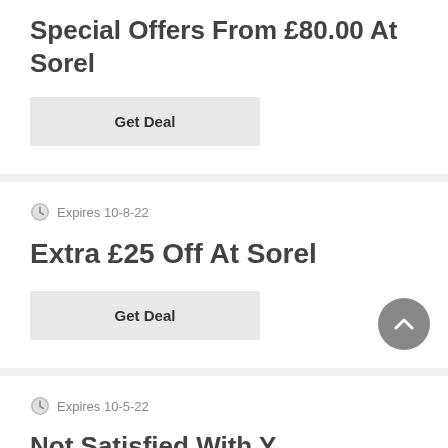Special Offers From £80.00 At Sorel
Get Deal
Expires 10-8-22
Extra £25 Off At Sorel
Get Deal
Expires 10-5-22
Not Satisfied With Y…